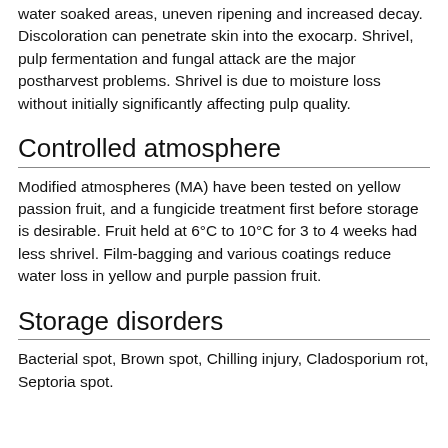water soaked areas, uneven ripening and increased decay. Discoloration can penetrate skin into the exocarp. Shrivel, pulp fermentation and fungal attack are the major postharvest problems. Shrivel is due to moisture loss without initially significantly affecting pulp quality.
Controlled atmosphere
Modified atmospheres (MA) have been tested on yellow passion fruit, and a fungicide treatment first before storage is desirable. Fruit held at 6°C to 10°C for 3 to 4 weeks had less shrivel. Film-bagging and various coatings reduce water loss in yellow and purple passion fruit.
Storage disorders
Bacterial spot, Brown spot, Chilling injury, Cladosporium rot, Septoria spot.